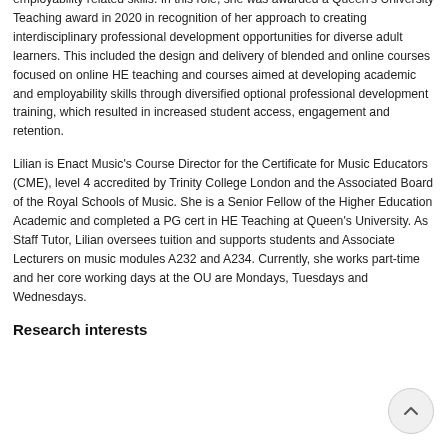employability related skills. In this role, she was awarded a Queen's University Teaching award in 2020 in recognition of her approach to creating interdisciplinary professional development opportunities for diverse adult learners. This included the design and delivery of blended and online courses focused on online HE teaching and courses aimed at developing academic and employability skills through diversified optional professional development training, which resulted in increased student access, engagement and retention.
Lilian is Enact Music's Course Director for the Certificate for Music Educators (CME), level 4 accredited by Trinity College London and the Associated Board of the Royal Schools of Music. She is a Senior Fellow of the Higher Education Academic and completed a PG cert in HE Teaching at Queen's University. As Staff Tutor, Lilian oversees tuition and supports students and Associate Lecturers on music modules A232 and A234. Currently, she works part-time and her core working days at the OU are Mondays, Tuesdays and Wednesdays.
Research interests